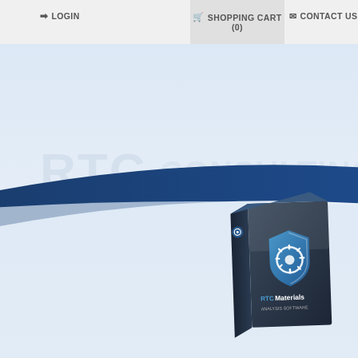LOGIN   SHOPPING CART (0)   CONTACT US
[Figure (screenshot): Website homepage with navigation bar showing LOGIN, SHOPPING CART (0), CONTACT US links, a blue curved banner design, faded watermark text, and a software product box featuring RTC Materials logo with a blue shield and circular graphic design element.]